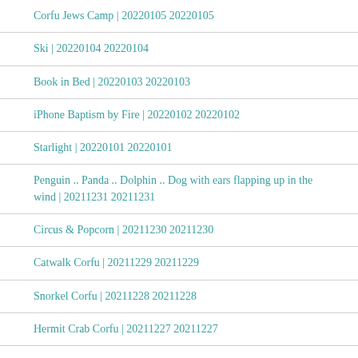Corfu Jews Camp | 20220105 20220105
Ski | 20220104 20220104
Book in Bed | 20220103 20220103
iPhone Baptism by Fire | 20220102 20220102
Starlight | 20220101 20220101
Penguin .. Panda .. Dolphin .. Dog with ears flapping up in the wind | 20211231 20211231
Circus & Popcorn | 20211230 20211230
Catwalk Corfu | 20211229 20211229
Snorkel Corfu | 20211228 20211228
Hermit Crab Corfu | 20211227 20211227